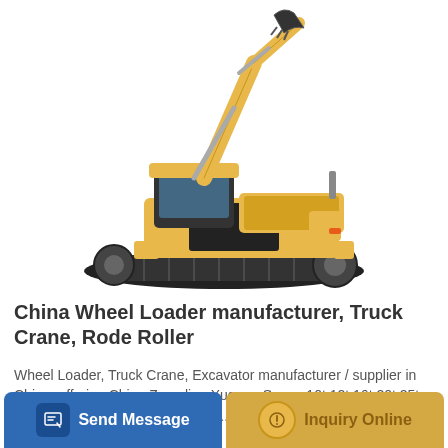[Figure (photo): SANY yellow excavator/crawler machine on white background, arm extended upward with bucket]
China Wheel Loader manufacturer, Truck Crane, Rode Roller
Wheel Loader, Truck Crane, Excavator manufacturer / supplier in China, offering China Zoomlion Xugong Sunny 10t 12t 16t 20t 25t 30t 50t 55t 60t 80t 100t Hydraulic...